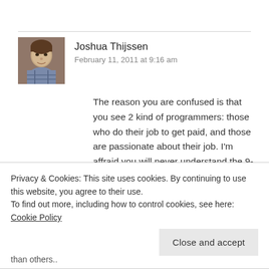[Figure (photo): Profile photo of Joshua Thijssen, a man in a plaid shirt]
Joshua Thijssen
February 11, 2011 at 9:16 am
The reason you are confused is that you see 2 kind of programmers: those who do their job to get paid, and those are passionate about their job. I'm affraid you will never understand the 9-to-5 people, and the 9-to-5'ers will never understand you (or me). Most people have a passion about something which they will call a hobby. Some of them do photography, others make music and others collect stamps. They can AND WILL talk for hours and hours about their favorite subject, just like we do about PHP. My girlfriend has another passion: she started this it...
than others..
Privacy & Cookies: This site uses cookies. By continuing to use this website, you agree to their use.
To find out more, including how to control cookies, see here: Cookie Policy
Close and accept